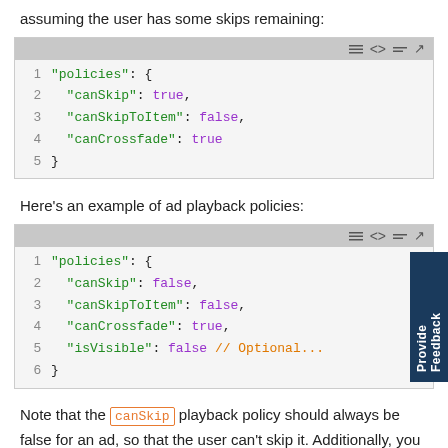assuming the user has some skips remaining:
[Figure (screenshot): Code block 1: JSON snippet showing policies with canSkip: true, canSkipToItem: false, canCrossfade: true]
Here's an example of ad playback policies:
[Figure (screenshot): Code block 2: JSON snippet showing policies with canSkip: false, canSkipToItem: false, canCrossfade: true, isVisible: false // Optional...]
Note that the canSkip playback policy should always be false for an ad, so that the user can't skip it. Additionally, you can optionally have isVisible set to false so that